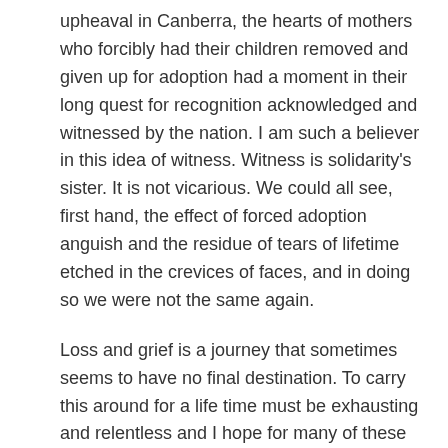upheaval in Canberra, the hearts of mothers who forcibly had their children removed and given up for adoption had a moment in their long quest for recognition acknowledged and witnessed by the nation. I am such a believer in this idea of witness. Witness is solidarity's sister. It is not vicarious. We could all see, first hand, the effect of forced adoption anguish and the residue of tears of lifetime etched in the crevices of faces, and in doing so we were not the same again.
Loss and grief is a journey that sometimes seems to have no final destination. To carry this around for a life time must be exhausting and relentless and I hope for many of these women and now adult children, they can at least take a rest from that journey for a while. I keep hearing Chuck Girard's song Lay Your Burden Down in relation to these experiences and trusting that all involved can lay their burden down and rest a while. Where laying down isn't an act of surrender but an act of rest of handing it over to another authority or sharing the burden so you don't have to carry it all on your